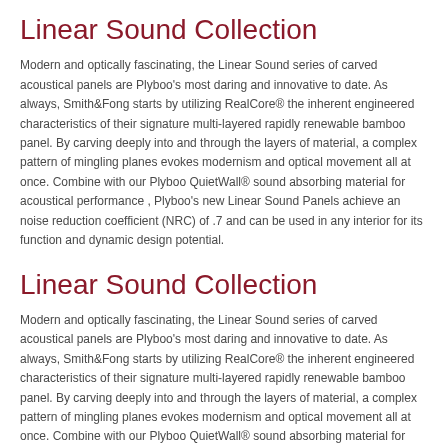Linear Sound Collection
Modern and optically fascinating, the Linear Sound series of carved acoustical panels are Plyboo's most daring and innovative to date. As always, Smith&Fong starts by utilizing RealCore® the inherent engineered characteristics of their signature multi-layered rapidly renewable bamboo panel. By carving deeply into and through the layers of material, a complex pattern of mingling planes evokes modernism and optical movement all at once. Combine with our Plyboo QuietWall® sound absorbing material for acoustical performance , Plyboo's new Linear Sound Panels achieve an noise reduction coefficient (NRC) of .7 and can be used in any interior for its function and dynamic design potential.
Linear Sound Collection
Modern and optically fascinating, the Linear Sound series of carved acoustical panels are Plyboo's most daring and innovative to date. As always, Smith&Fong starts by utilizing RealCore® the inherent engineered characteristics of their signature multi-layered rapidly renewable bamboo panel. By carving deeply into and through the layers of material, a complex pattern of mingling planes evokes modernism and optical movement all at once. Combine with our Plyboo QuietWall® sound absorbing material for acoustical performance , Plyboo's new Linear Sound Panels achieve an noise reduction coefficient (NRC) of .7 and can be used in any interior for its function and